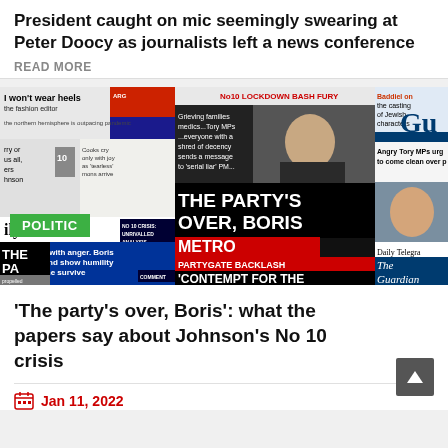President caught on mic seemingly swearing at Peter Doocy as journalists left a news conference
READ MORE
[Figure (photo): Collage of UK newspaper front pages about Boris Johnson's Partygate crisis, including Metro headline 'THE PARTY'S OVER, BORIS', 'PARTYGATE BACKLASH', 'CONTEMPT FOR THE [VICTIMS]', 'No10 LOCKDOWN BASH FURY', The Guardian, Daily Telegraph, and Daily Mail front pages.]
'The party's over, Boris': what the papers say about Johnson's No 10 crisis
Jan 11, 2022